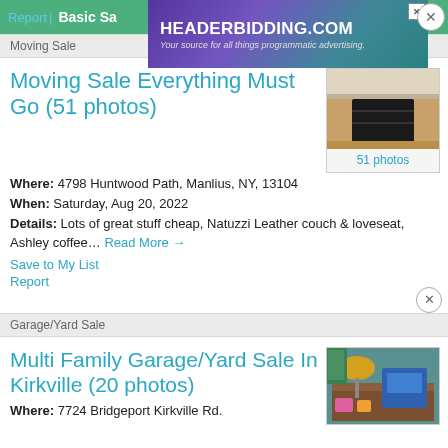Report | Basic Sa
[Figure (photo): HEADERBIDDING.COM advertisement banner - Your source for all things programmatic advertising.]
Moving Sale
Moving Sale Everything Must Go (51 photos)
[Figure (photo): Photo of metal fireplace log holder/rack on wooden floor. 51 photos.]
Where: 4798 Huntwood Path, Manlius, NY, 13104
When: Saturday, Aug 20, 2022
Details: Lots of great stuff cheap, Natuzzi Leather couch & loveseat, Ashley coffee… Read More →
Save to My List
Report
Garage/Yard Sale
Multi Family Garage/Yard Sale In Kirkville (20 photos)
[Figure (photo): Photo of garage/yard sale items including a lamp and colorful items on a table.]
Where: 7724 Bridgeport Kirkville Rd.